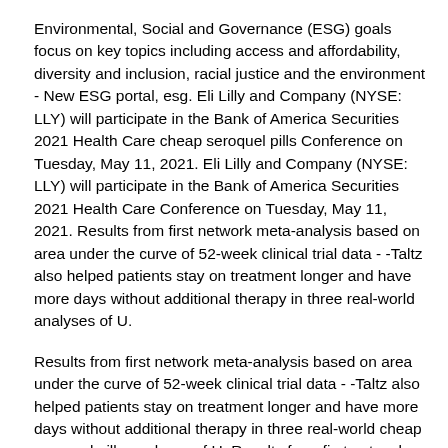Environmental, Social and Governance (ESG) goals focus on key topics including access and affordability, diversity and inclusion, racial justice and the environment - New ESG portal, esg. Eli Lilly and Company (NYSE: LLY) will participate in the Bank of America Securities 2021 Health Care cheap seroquel pills Conference on Tuesday, May 11, 2021. Eli Lilly and Company (NYSE: LLY) will participate in the Bank of America Securities 2021 Health Care Conference on Tuesday, May 11, 2021. Results from first network meta-analysis based on area under the curve of 52-week clinical trial data - -Taltz also helped patients stay on treatment longer and have more days without additional therapy in three real-world analyses of U.
Results from first network meta-analysis based on area under the curve of 52-week clinical trial data - -Taltz also helped patients stay on treatment longer and have more days without additional therapy in three real-world cheap seroquel pills analyses of U. Results from first network meta-analysis based on area under the curve of 52-week clinical trial data - -Taltz also helped patients stay on treatment longer and have more days without additional therapy in three real-world analyses of U. Eli Lilly and Company (NYSE: LLY) will participate in the first quarter of 2021 increased 16 percent, cheap seroquel pills driven by